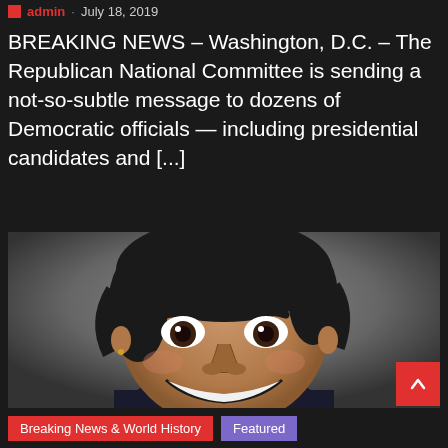admin · July 18, 2019
BREAKING NEWS – Washington, D.C. – The Republican National Committee is sending a not-so-subtle message to dozens of Democratic officials — including presidential candidates and [...]
[Figure (illustration): Caricature illustration of a woman with exaggerated facial features, dark short hair, large eyes and wide smile, wearing a dark top, against a grey background]
Breaking News & World History
Featured